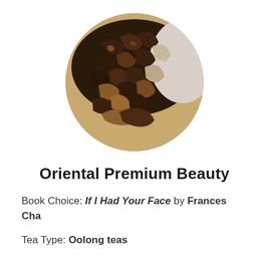[Figure (photo): Circular cropped photo of loose-leaf oolong tea leaves, brown and twisted, on a white background]
Oriental Premium Beauty
Book Choice: If I Had Your Face by Frances Cha
Tea Type: Oolong teas